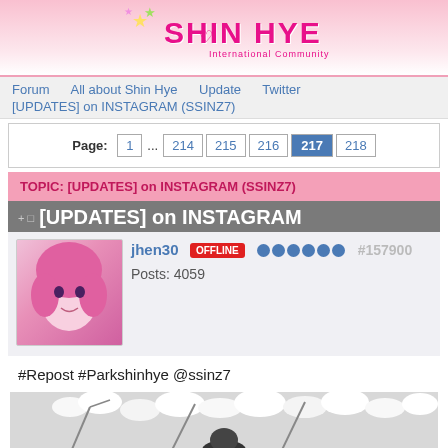[Figure (logo): Shin Hye International Community logo with stars and pink text]
Forum   All about Shin Hye   Update   Twitter
[UPDATES] on INSTAGRAM (SSINZ7)
Page: 1 ... 214 215 216 217 218
TOPIC: [UPDATES] on INSTAGRAM (SSINZ7)
[UPDATES] on INSTAGRAM (SSINZ7)
jhen30   OFFLINE   #157900
Posts: 4059
#Repost #Parkshinhye @ssinz7
[Figure (photo): Photo of person among white flowers/blossoms, partially visible]